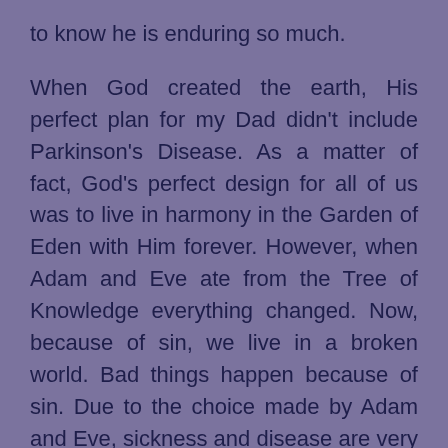to know he is enduring so much.
When God created the earth, His perfect plan for my Dad didn't include Parkinson's Disease. As a matter of fact, God's perfect design for all of us was to live in harmony in the Garden of Eden with Him forever. However, when Adam and Eve ate from the Tree of Knowledge everything changed. Now, because of sin, we live in a broken world. Bad things happen because of sin. Due to the choice made by Adam and Eve, sickness and disease are very prevalent. My Dad doesn't have Parkinson's because he sinned, my Dad has Parkinson's because we live in a fallen world.
The good news is that this isn't the end of the story. As I have said before, the story never ends...